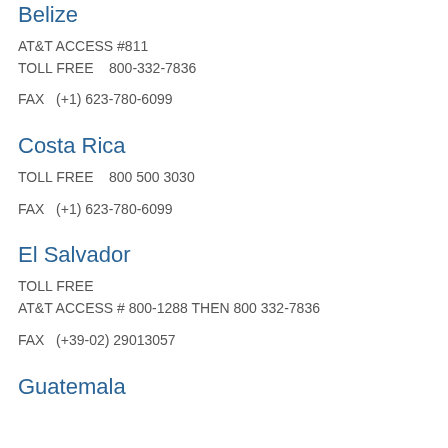Belize
AT&T ACCESS #811
TOLL FREE    800-332-7836
FAX   (+1) 623-780-6099
Costa Rica
TOLL FREE    800 500 3030
FAX   (+1) 623-780-6099
El Salvador
TOLL FREE
AT&T ACCESS # 800-1288 THEN 800 332-7836
FAX   (+39-02) 29013057
Guatemala